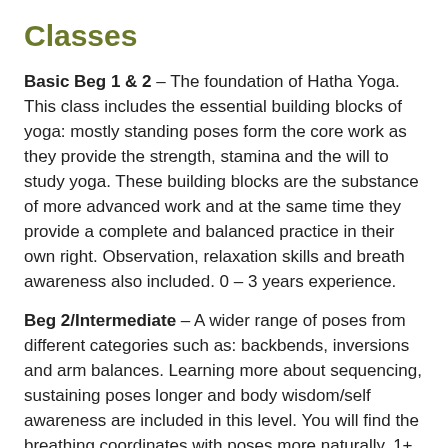Classes
Basic Beg 1 & 2 – The foundation of Hatha Yoga. This class includes the essential building blocks of yoga: mostly standing poses form the core work as they provide the strength, stamina and the will to study yoga. These building blocks are the substance of more advanced work and at the same time they provide a complete and balanced practice in their own right. Observation, relaxation skills and breath awareness also included. 0 – 3 years experience.
Beg 2/Intermediate – A wider range of poses from different categories such as: backbends, inversions and arm balances. Learning more about sequencing, sustaining poses longer and body wisdom/self awareness are included in this level. You will find the breathing coordinates with poses more naturally. 1+ years experience.